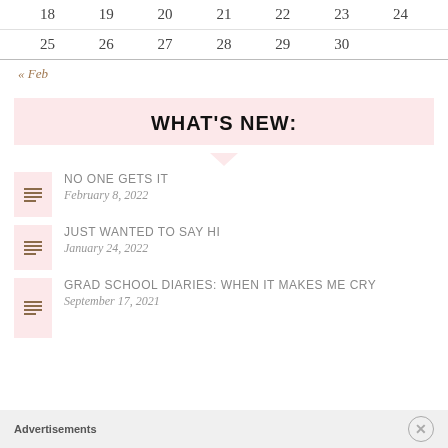| 18 | 19 | 20 | 21 | 22 | 23 | 24 |
| 25 | 26 | 27 | 28 | 29 | 30 |  |
« Feb
WHAT'S NEW:
NO ONE GETS IT — February 8, 2022
JUST WANTED TO SAY HI — January 24, 2022
GRAD SCHOOL DIARIES: WHEN IT MAKES ME CRY — September 17, 2021
Advertisements